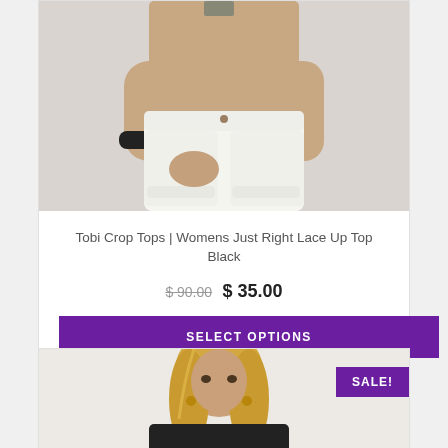[Figure (photo): Woman wearing white high-waisted denim shorts with a black wristband, showing torso area against light grey background]
Tobi Crop Tops | Womens Just Right Lace Up Top Black
$ 90.00  $ 35.00
SELECT OPTIONS
[Figure (photo): Blonde woman wearing a dark top, shown from shoulders up, with SALE! badge in top right corner]